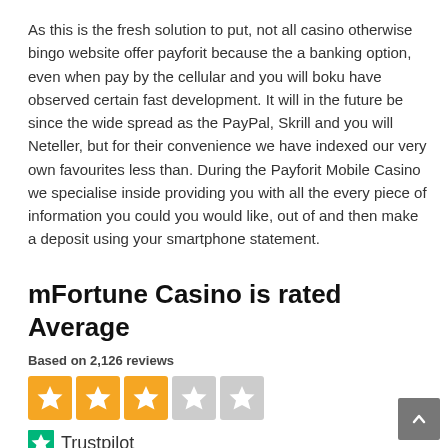As this is the fresh solution to put, not all casino otherwise bingo website offer payforit because the a banking option, even when pay by the cellular and you will boku have observed certain fast development. It will in the future be since the wide spread as the PayPal, Skrill and you will Neteller, but for their convenience we have indexed our very own favourites less than. During the Payforit Mobile Casino we specialise inside providing you with all the every piece of information you could you would like, out of and then make a deposit using your smartphone statement.
mFortune Casino is rated Average
Based on 2,126 reviews
[Figure (other): 3 filled golden stars and 2 empty grey stars rating widget]
[Figure (logo): Trustpilot logo with green star icon and Trustpilot text]